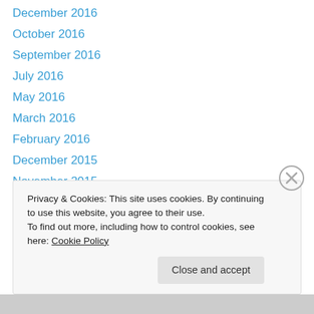December 2016
October 2016
September 2016
July 2016
May 2016
March 2016
February 2016
December 2015
November 2015
October 2015
September 2015
July 2015
June 2015
Privacy & Cookies: This site uses cookies. By continuing to use this website, you agree to their use.
To find out more, including how to control cookies, see here: Cookie Policy
Close and accept